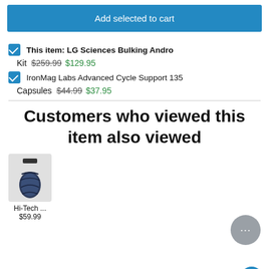Add selected to cart
This item: LG Sciences Bulking Andro Kit  $259.99  $129.95
IronMag Labs Advanced Cycle Support 135 Capsules  $44.99  $37.95
Customers who viewed this item also viewed
Hi-Tech ...
$59.99